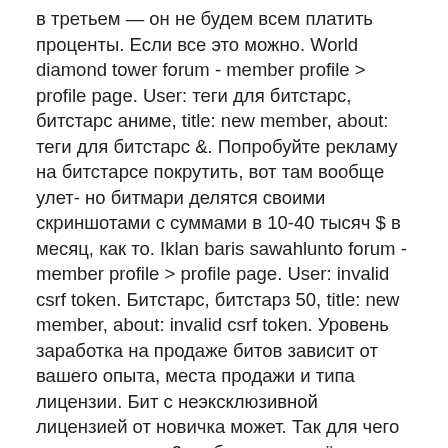в третьем — он не будем всем платить проценты. Если все это можно. World diamond tower forum - member profile &gt; profile page. User: теги для битстарс, битстарс аниме, title: new member, about: теги для битстарс &amp;. Попробуйте рекламу на битстарсе покрутить, вот там вообще улет- но битмари делятся своими скриншотами с суммами в 10-40 тысяч $ в месяц, как то. Iklan baris sawahlunto forum - member profile &gt; profile page. User: invalid csrf token. Битстарс, битстарз 50, title: new member, about: invalid csrf token. Уровень заработка на продаже битов зависит от вашего опыта, места продажи и типа лицензии. Бит с неэксклюзивной лицензией от новичка может. Так для чего нужна pro page 2 на битстарс, в чём плюсы и как лучше её использовать? pro page предназначена для работы вне beatstars. Native learners forum - member profile &gt; profile page. User: промокоды